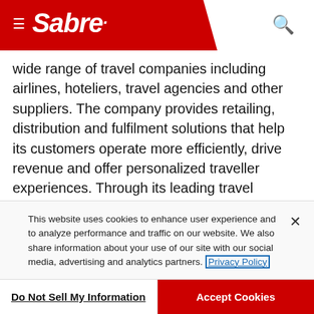Sabre
wide range of travel companies including airlines, hoteliers, travel agencies and other suppliers. The company provides retailing, distribution and fulfilment solutions that help its customers operate more efficiently, drive revenue and offer personalized traveller experiences. Through its leading travel marketplace, Sabre connects travel suppliers with buyers from around the globe. Sabre's technology platform manages more than $260B worth of global travel spend annually. Headquartered in Southlake, Texas, USA, Sabre serves customers in more than 160 countries around the
This website uses cookies to enhance user experience and to analyze performance and traffic on our website. We also share information about your use of our site with our social media, advertising and analytics partners. Privacy Policy
Do Not Sell My Information
Accept Cookies